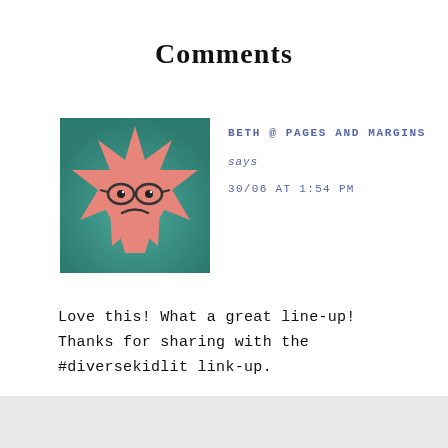Comments
[Figure (illustration): Avatar image of a cartoon star character with glasses and a frowning expression on a teal/green gradient background]
BETH @ PAGES AND MARGINS
says
30/06 AT 1:54 PM
Love this! What a great line-up! Thanks for sharing with the #diversekidlit link-up.